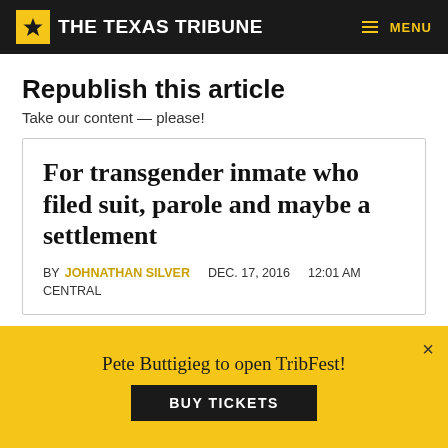THE TEXAS TRIBUNE
Republish this article
Take our content — please!
For transgender inmate who filed suit, parole and maybe a settlement
BY JOHNATHAN SILVER   DEC. 17, 2016   12:01 AM
CENTRAL
Pete Buttigieg to open TribFest!
BUY TICKETS